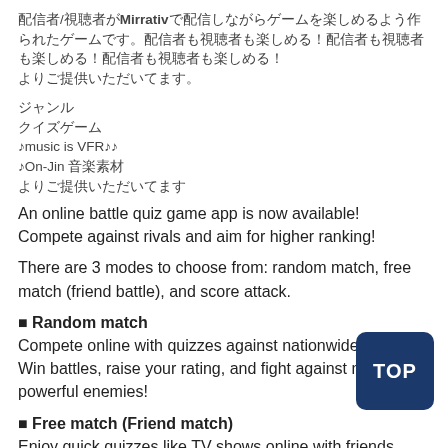配信者/視聴者がMirrativで配信しながらゲームを楽しめるよう作られたゲームです。配信者も視聴者も楽しめる！
ジャンル
クイズゲーム
♪music is VFR♪♪
♪On-Jin 音楽素材
よりご提供いただいてます
An online battle quiz game app is now available! Compete against rivals and aim for higher ranking!
There are 3 modes to choose from: random match, free match (friend battle), and score attack.
■ Random match
Compete online with quizzes against nationwide rivals! Win battles, raise your rating, and fight against more powerful enemies!
■ Free match (Friend match)
Enjoy quick quizzes like TV shows online with friends, family, parties and online!